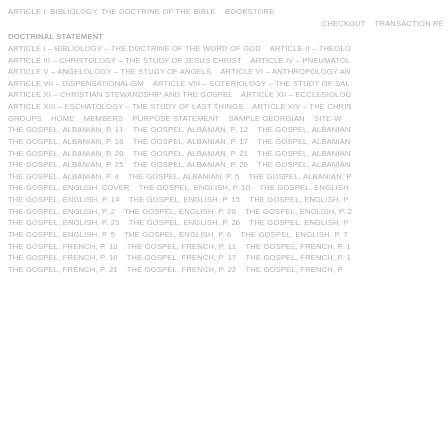ARTICLE I: BIBLIOLOGY, THE DOCTRINE OF THE BIBLE    BOOKSTORE
CHECKOUT    TRANSACTION RE
DOCTRINAL STATEMENT
ARTICLE I – BIBLIOLOGY – THE DOCTRINE OF THE WORD OF GOD    ARTICLE II – THEOLO
ARTICLE III – CHRISTOLOGY – THE STUDY OF JESUS CHRIST    ARTICLE IV – PNEUMATOL
ARTICLE V – ANGELOLOGY – THE STUDY OF ANGELS    ARTICLE VI – ANTHROPOLOGY AN
ARTICLE VII – DISPENSATIONALISM    ARTICLE VIII – SOTERIOLOGY – THE STUDY OF SAL
ARTICLE XI – CHRISTIAN STEWARDSHIP AND THE GOSPEL    ARTICLE XII – ECCLESIOLOG
ARTICLE XIII – ESCHATOLOGY – THE STUDY OF LAST THINGS    ARTICLE XIV – THE CHRIS
GROUPS    HOME    MEMBERS    PURPOSE STATEMENT    SAMPLE GEORGIAN    SITE-W
THE GOSPEL, ALBANIAN, P. 11    THE GOSPEL, ALBANIAN, P. 12    THE GOSPEL, ALBANIAN
THE GOSPEL, ALBANIAN, P. 16    THE GOSPEL, ALBANIAN, P. 17    THE GOSPEL, ALBANIAN
THE GOSPEL, ALBANIAN, P. 20    THE GOSPEL, ALBANIAN, P. 21    THE GOSPEL, ALBANIAN
THE GOSPEL, ALBANIAN, P. 25    THE GOSPEL, ALBANIAN, P. 26    THE GOSPEL, ALBANIAN
THE GOSPEL, ALBANIAN, P. 4    THE GOSPEL, ALBANIAN, P. 5    THE GOSPEL, ALBANIAN, P
THE GOSPEL, ENGLISH, COVER    THE GOSPEL, ENGLISH, P. 10    THE GOSPEL, ENGLISH
THE GOSPEL, ENGLISH, P. 14    THE GOSPEL, ENGLISH, P. 15    THE GOSPEL, ENGLISH, P.
THE GOSPEL, ENGLISH, P. 2    THE GOSPEL, ENGLISH, P. 20    THE GOSPEL, ENGLISH, P. 2
THE GOSPEL, ENGLISH, P. 25    THE GOSPEL, ENGLISH, P. 26    THE GOSPEL, ENGLISH, P
THE GOSPEL, ENGLISH, P. 5    THE GOSPEL, ENGLISH, P. 6    THE GOSPEL, ENGLISH, P. 7
THE GOSPEL, FRENCH, P. 10    THE GOSPEL, FRENCH, P. 11    THE GOSPEL, FRENCH, P. 1
THE GOSPEL, FRENCH, P. 16    THE GOSPEL, FRENCH, P. 17    THE GOSPEL, FRENCH, P. 1
THE GOSPEL, FRENCH, P. 21    THE GOSPEL, FRENCH, P. 22    THE GOSPEL, FRENCH, P